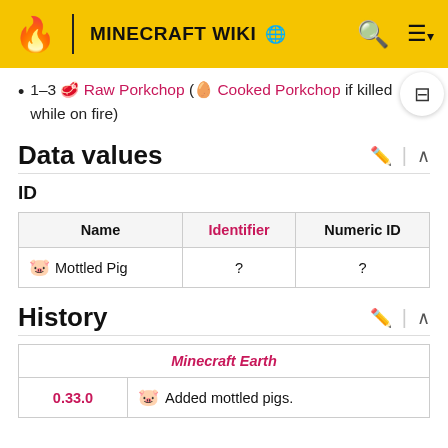MINECRAFT WIKI
1–3 🥩 Raw Porkchop (🥚 Cooked Porkchop if killed while on fire)
Data values
ID
| Name | Identifier | Numeric ID |
| --- | --- | --- |
| 🐷 Mottled Pig | ? | ? |
History
| Minecraft Earth |
| --- |
| 0.33.0 | 🐷 Added mottled pigs. |